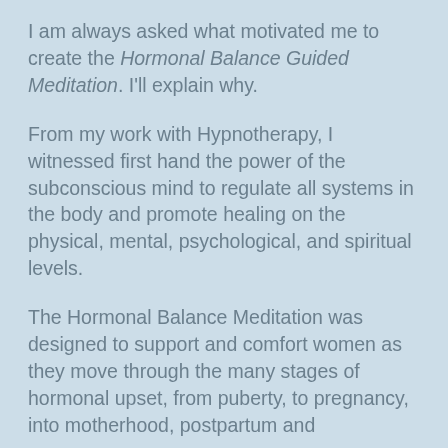I am always asked what motivated me to create the Hormonal Balance Guided Meditation. I'll explain why.
From my work with Hypnotherapy, I witnessed first hand the power of the subconscious mind to regulate all systems in the body and promote healing on the physical, mental, psychological, and spiritual levels.
The Hormonal Balance Meditation was designed to support and comfort women as they move through the many stages of hormonal upset, from puberty, to pregnancy, into motherhood, postpartum and menopause.